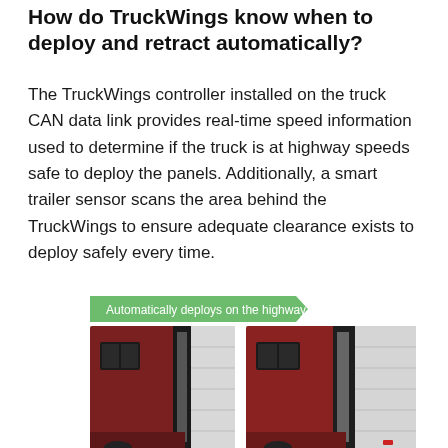How do TruckWings know when to deploy and retract automatically?
The TruckWings controller installed on the truck CAN data link provides real-time speed information used to determine if the truck is at highway speeds safe to deploy the panels. Additionally, a smart trailer sensor scans the area behind the TruckWings to ensure adequate clearance exists to deploy safely every time.
[Figure (photo): Two side-by-side images of a truck with TruckWings panels, showing the panels retracting and deploying. A green arrow-shaped label reads 'Automatically deploys on the highway'. The truck cab is dark red/maroon and the trailer is white, with the aerodynamic side panels visible between cab and trailer.]